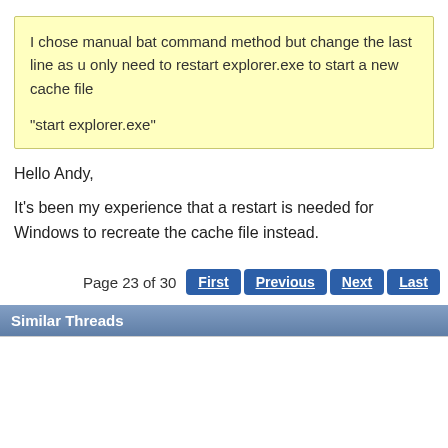I chose manual bat command method but change the last line as u only need to restart explorer.exe to start a new cache file

"start explorer.exe"
Hello Andy,
It's been my experience that a restart is needed for Windows to recreate the cache file instead.
Page 23 of 30  First  Previous  Next  Last
Similar Threads